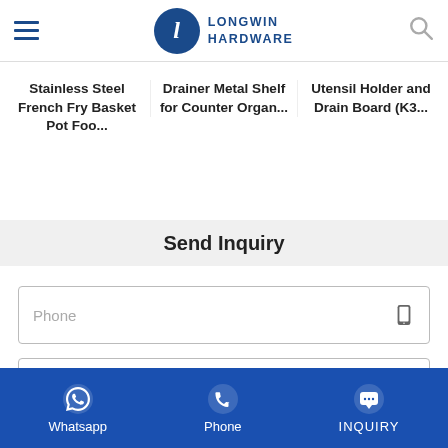Longwin Hardware
Stainless Steel French Fry Basket Pot Foo...
Drainer Metal Shelf for Counter Organ...
Utensil Holder and Drain Board (K3...
Send Inquiry
Phone
E-mail*
Whatsapp  Phone  INQUIRY